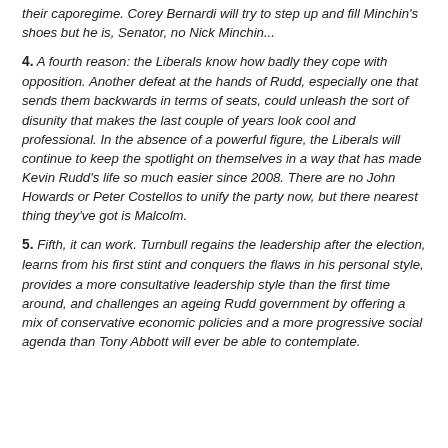their caporegime. Corey Bernardi will try to step up and fill Minchin's shoes but he is, Senator, no Nick Minchin...
4. A fourth reason: the Liberals know how badly they cope with opposition. Another defeat at the hands of Rudd, especially one that sends them backwards in terms of seats, could unleash the sort of disunity that makes the last couple of years look cool and professional. In the absence of a powerful figure, the Liberals will continue to keep the spotlight on themselves in a way that has made Kevin Rudd's life so much easier since 2008. There are no John Howards or Peter Costellos to unify the party now, but there nearest thing they've got is Malcolm.
5. Fifth, it can work. Turnbull regains the leadership after the election, learns from his first stint and conquers the flaws in his personal style, provides a more consultative leadership style than the first time around, and challenges an ageing Rudd government by offering a mix of conservative economic policies and a more progressive social agenda than Tony Abbott will ever be able to contemplate.